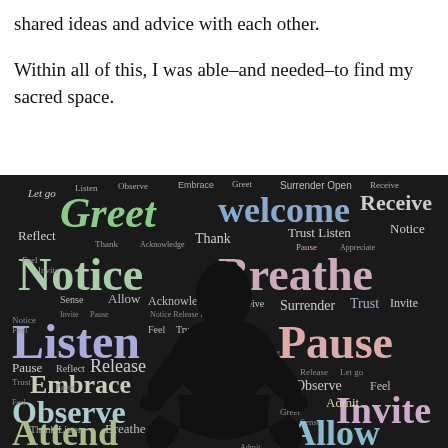shared ideas and advice with each other.
Within all of this, I was able–and needed–to find my sacred space.
[Figure (illustration): A word cloud on a dark background featuring mindfulness and meditation-related words such as Greet, Welcome, Receive, Notice, Breathe, Listen, Pause, Trust, Invite, Allow, Accept, Observe, Embrace, Attend, Appreciate, Sense, Release, Open, Acknowledge, Surrender, Reflect, and others in various sizes and pastel colors (green, blue, pink, white). A silhouette of a person sitting in a meditation pose is centered in the image.]